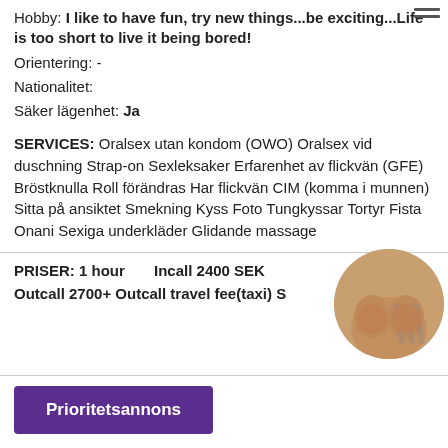Hobby: I like to have fun, try new things...be exciting...Life is too short to live it being bored!
Orientering: -
Nationalitet:
Säker lägenhet: Ja
SERVICES: Oralsex utan kondom (OWO) Oralsex vid duschning Strap-on Sexleksaker Erfarenhet av flickvän (GFE) Bröstknulla Roll förändras Har flickvän CIM (komma i munnen) Sitta på ansiktet Smekning Kyss Foto Tungkyssar Tortyr Fista Onani Sexiga underkläder Glidande massage
PRISER: 1 hour   Incall 2400 SEK
Outcall 2700+ Outcall travel fee(taxi) S
[Figure (photo): Circular cropped photo of a person's torso]
Prioritetsannons